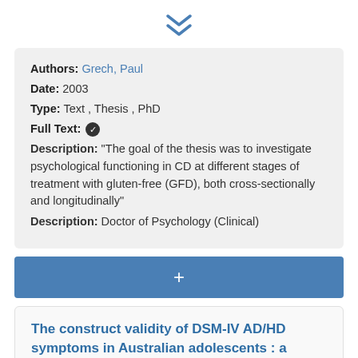[Figure (other): Double chevron down arrow icon in blue]
Authors: Grech, Paul
Date: 2003
Type: Text , Thesis , PhD
Full Text: ✔
Description: "The goal of the thesis was to investigate psychological functioning in CD at different stages of treatment with gluten-free (GFD), both cross-sectionally and longitudinally"
Description: Doctor of Psychology (Clinical)
[Figure (other): Blue plus button bar for adding item]
The construct validity of DSM-IV AD/HD symptoms in Australian adolescents : a confirmatory factor analysis multitrait-multisource approach